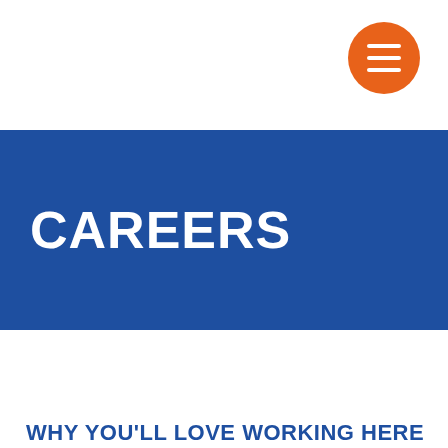[Figure (other): Orange circular hamburger menu button with three white horizontal bars, positioned in the top-right corner of the navigation bar]
CAREERS
WHY YOU'LL LOVE WORKING HERE